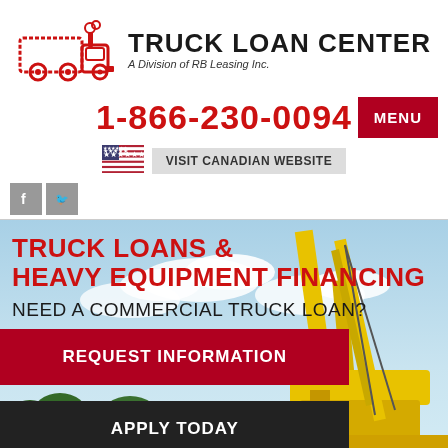[Figure (logo): Truck Loan Center logo with red truck icon and text 'TRUCK LOAN CENTER - A Division of RB Leasing Inc.']
1-866-230-0094
MENU
[Figure (illustration): US flag icon]
VISIT CANADIAN WEBSITE
[Figure (illustration): Facebook and Twitter social media icons]
[Figure (photo): Hero banner showing yellow heavy construction equipment/crane against blue sky background]
TRUCK LOANS & HEAVY EQUIPMENT FINANCING
NEED A COMMERCIAL TRUCK LOAN?
REQUEST INFORMATION
APPLY TODAY